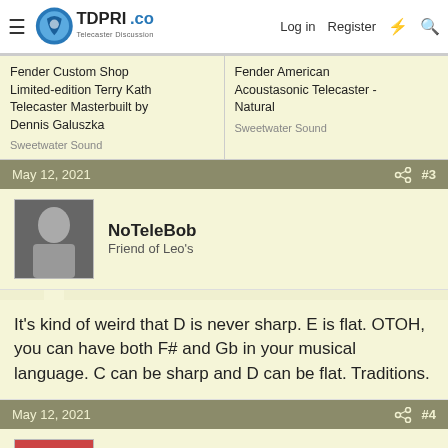TDPRI.com — Telecaster Discussion Page Reissue | Log in | Register
Fender Custom Shop Limited-edition Terry Kath Telecaster Masterbuilt by Dennis Galuszka
Sweetwater Sound
Fender American Acoustasonic Telecaster - Natural
Sweetwater Sound
May 12, 2021  #3
NoTeleBob
Friend of Leo's
It's kind of weird that D is never sharp. E is flat. OTOH, you can have both F# and Gb in your musical language. C can be sharp and D can be flat. Traditions.
May 12, 2021  #4
Edgar Allan Presley
Friend of Leo's